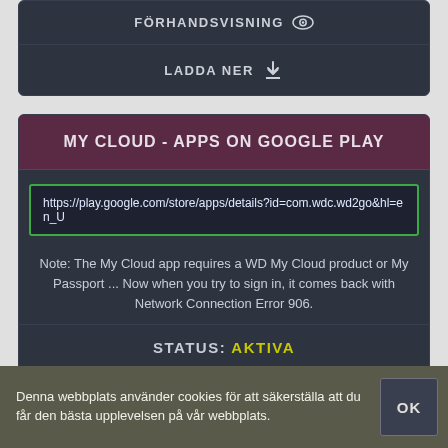FÖRHANDSVISNING
LADDA NER
MY CLOUD - APPS ON GOOGLE PLAY
https://play.google.com/store/apps/details?id=com.wdc.wd2go&hl=en_U
Note: The My Cloud app requires a WD My Cloud product or My Passport ... Now when you try to sign in, it comes back with Network Connection Error 906.
STATUS: AKTIVA
FÖRHANDSVISNING
Denna webbplats använder cookies för att säkerställa att du får den bästa upplevelsen på vår webbplats.